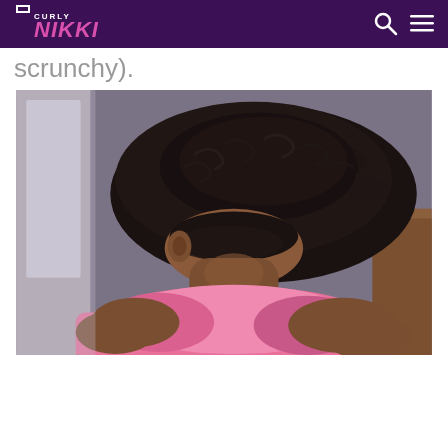CURLY NIKKI [navigation with search and menu icons]
scrunchy).
[Figure (photo): Back view of a Black woman with natural curly/coily hair styled in a bun or updo. She is wearing a pink top. The photo is taken from behind showing the texture and style of her natural hair, with her head tilted slightly downward.]